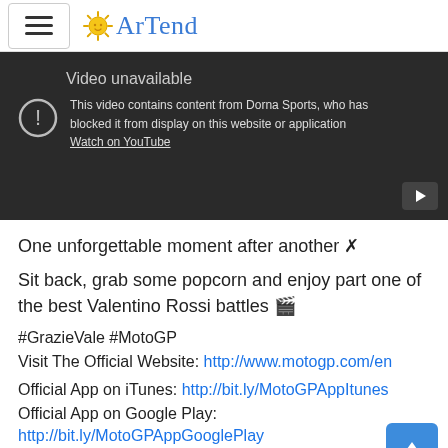ArTend (logo with hamburger menu)
[Figure (screenshot): YouTube video unavailable placeholder. Dark background showing 'Video unavailable' and message: 'This video contains content from Dorna Sports, who has blocked it from display on this website or application'. Link: 'Watch on YouTube'. Play button icon in bottom right.]
One unforgettable moment after another ✗
Sit back, grab some popcorn and enjoy part one of the best Valentino Rossi battles 🎬
#GrazieVale #MotoGP
Visit The Official Website: http://www.motogp.com/en
Official App on iTunes: http://bit.ly/MotoGPAppItunes
Official App on Google Play:
http://bit.ly/MotoGPAppGooglePlay